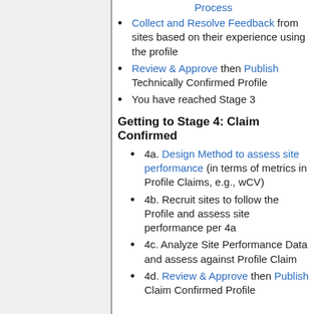Process
Collect and Resolve Feedback from sites based on their experience using the profile
Review & Approve then Publish Technically Confirmed Profile
You have reached Stage 3
Getting to Stage 4: Claim Confirmed
4a. Design Method to assess site performance (in terms of metrics in Profile Claims, e.g., wCV)
4b. Recruit sites to follow the Profile and assess site performance per 4a
4c. Analyze Site Performance Data and assess against Profile Claim
4d. Review & Approve then Publish Claim Confirmed Profile